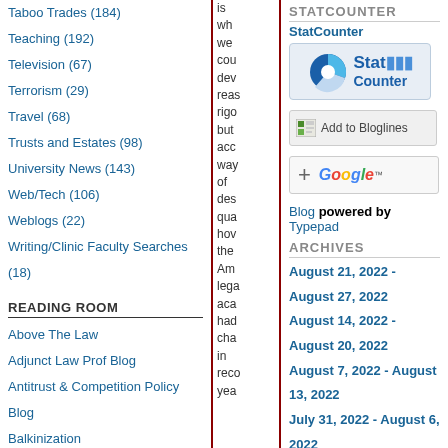Taboo Trades (184)
Teaching (192)
Television (67)
Terrorism (29)
Travel (68)
Trusts and Estates (98)
University News (143)
Web/Tech (106)
Weblogs (22)
Writing/Clinic Faculty Searches (18)
READING ROOM
Above The Law
Adjunct Law Prof Blog
Antitrust & Competition Policy Blog
Balkinization
Brian Leiter's Law School Reports
Brian Leiter's Legal Philosophy Blog
is who we cou dev reas rigo but acc way of des qua how the Am lega aca had cha in reco yea
STATCOUNTER
StatCounter
[Figure (logo): StatCounter logo with pie chart icon and bar chart bars]
[Figure (logo): Add to Bloglines button]
[Figure (logo): Add to Google button with plus sign]
Blog powered by Typepad
ARCHIVES
August 21, 2022 - August 27, 2022
August 14, 2022 - August 20, 2022
August 7, 2022 - August 13, 2022
July 31, 2022 - August 6, 2022
July 24, 2022 - July 30, 2022
July 17, 2022 - July 23, 2022
July 10, 2022 - July 16, 2022